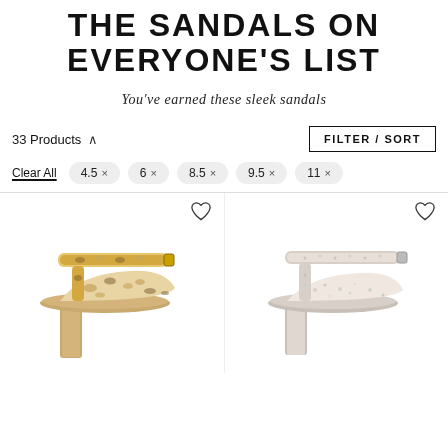THE SANDALS ON EVERYONE'S LIST
You've earned these sleek sandals
33 Products
FILTER / SORT
Clear All
4.5 ×
6 ×
8.5 ×
9.5 ×
11 ×
[Figure (photo): Leopard print block heel sandal with ankle strap on white background]
[Figure (photo): Silver sparkle/rhinestone block heel sandal with ankle strap on white background]